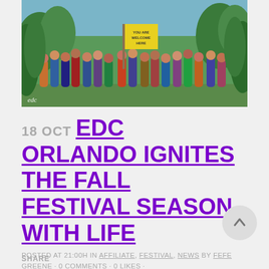[Figure (photo): Group photo of festival attendees at EDC Orlando, holding a yellow flag that reads 'YOU ARE WELCOME HERE', taken outdoors with green trees in background. EDC watermark in bottom left.]
18 OCT EDC ORLANDO IGNITES THE FALL FESTIVAL SEASON WITH LIFE
POSTED AT 21:00H IN AFFILIATE, FESTIVAL, NEWS BY FEFE GREENE · 0 COMMENTS · 0 LIKES ·
SHARE